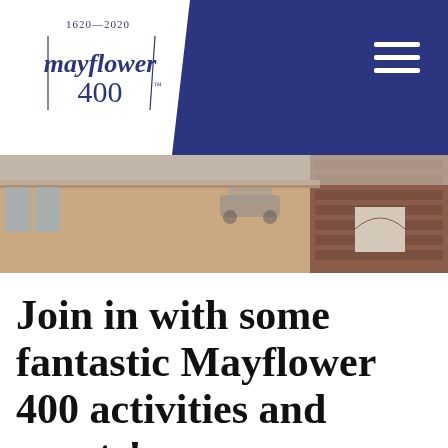[Figure (logo): Mayflower 400 logo (1620-2020) on white background within dark navy header bar]
[Figure (photo): Photograph of a building exterior with beige/tan walls and brick building in background, rooftop view]
Join in with some fantastic Mayflower 400 activities and events!